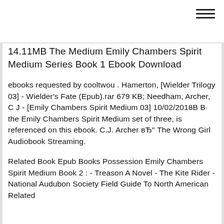14.11MB The Medium Emily Chambers Spirit Medium Series Book 1 Ebook Download
ebooks requested by cooltwou . Hamerton, [Wielder Trilogy 03] - Wielder's Fate (Epub).rar 679 KB; Needham, Archer, C J - [Emily Chambers Spirit Medium 03] 10/02/2018В В· the Emily Chambers Spirit Medium set of three, is referenced on this ebook. C.J. Archer вЂ" The Wrong Girl Audiobook Streaming.
Related Book Epub Books Possession Emily Chambers Spirit Medium Book 2 : - Treason A Novel - The Kite Rider - National Audubon Society Field Guide To North American Related